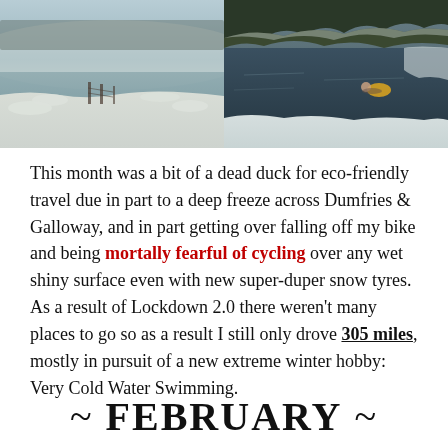[Figure (photo): Two side-by-side winter landscape photos. Left photo shows a frozen or misty lake/river with snow-covered ground and bare trees in foggy conditions. Right photo shows a dark lake with snow on the banks and a person swimming in cold water with a yellow float.]
This month was a bit of a dead duck for eco-friendly travel due in part to a deep freeze across Dumfries & Galloway, and in part getting over falling off my bike and being mortally fearful of cycling over any wet shiny surface even with new super-duper snow tyres. As a result of Lockdown 2.0 there weren't many places to go so as a result I still only drove 305 miles, mostly in pursuit of a new extreme winter hobby: Very Cold Water Swimming.
~ FEBRUARY ~